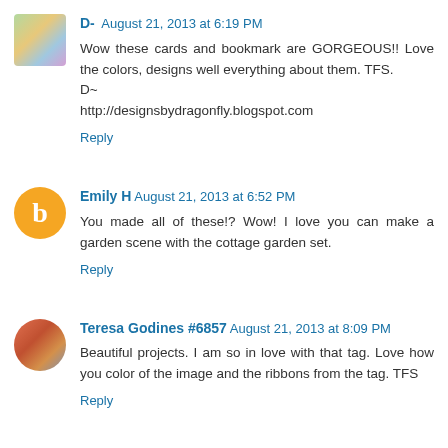D-  August 21, 2013 at 6:19 PM
Wow these cards and bookmark are GORGEOUS!! Love the colors, designs well everything about them. TFS.
D~
http://designsbydragonfly.blogspot.com
Reply
Emily H  August 21, 2013 at 6:52 PM
You made all of these!? Wow! I love you can make a garden scene with the cottage garden set.
Reply
Teresa Godines #6857  August 21, 2013 at 8:09 PM
Beautiful projects. I am so in love with that tag. Love how you color of the image and the ribbons from the tag. TFS
Reply